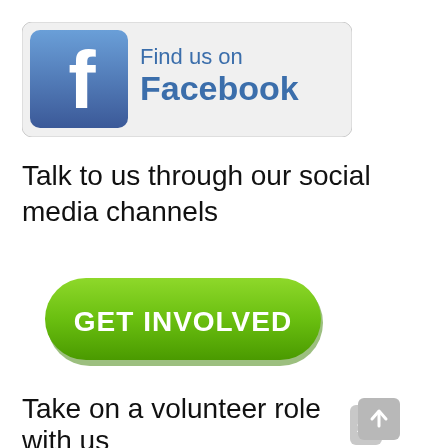[Figure (logo): Find us on Facebook logo with Facebook 'f' icon on the left and 'Find us on Facebook' text in blue on the right]
Talk to us through our social media channels
[Figure (infographic): Green pill-shaped button with white bold text reading 'GET INVOLVED']
Take on a volunteer role with us